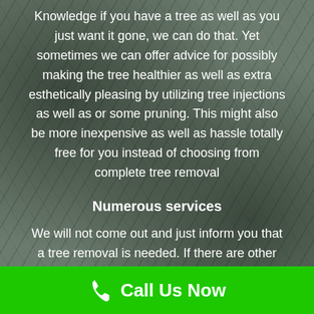Knowledge if you have a tree as well as you just want it gone, we can do that. Yet sometimes we can offer advice for possibly making the tree healthier as well as extra esthetically pleasing by utilizing tree injections as well as or some pruning. This might also be more inexpensive as well as hassle totally free for you instead of choosing from complete tree removal
Numerous services
We will not come out and just inform you that a tree removal is needed. If there are other choices, like cabling, bolting techniques, winter pruning etc, we will certainly advise you. At the same time we really feel paying attention is a huge component of our success, as well as
Call Us Now